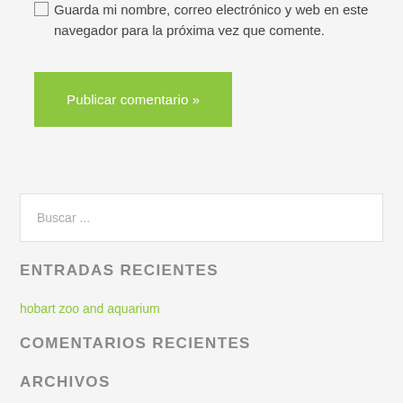Guarda mi nombre, correo electrónico y web en este navegador para la próxima vez que comente.
Publicar comentario »
Buscar ...
ENTRADAS RECIENTES
hobart zoo and aquarium
COMENTARIOS RECIENTES
ARCHIVOS